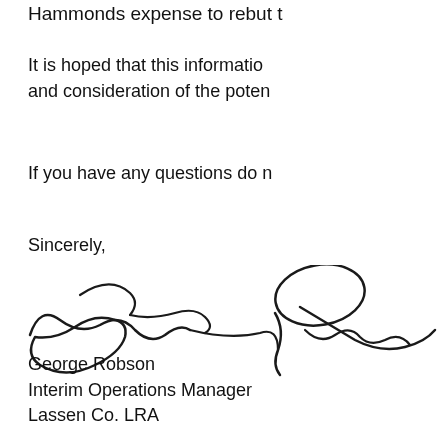Hammonds expense to rebut t…
It is hoped that this informatio… and consideration of the poten…
If you have any questions do n…
Sincerely,
[Figure (illustration): Handwritten signature of George Robson]
George Robson
Interim Operations Manager
Lassen Co. LRA